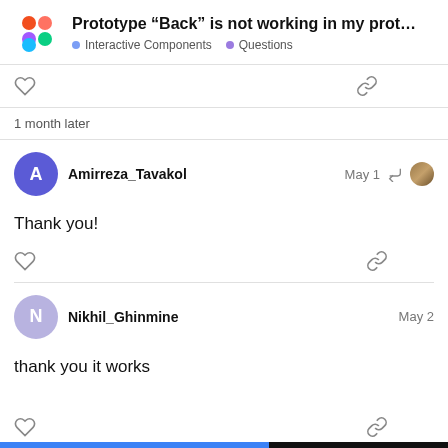Prototype "Back" is not working in my prot… • Interactive Components • Questions
1 month later
Amirreza_Tavakol  May 1
Thank you!
Nikhil_Ghinmine  May 2
thank you it works